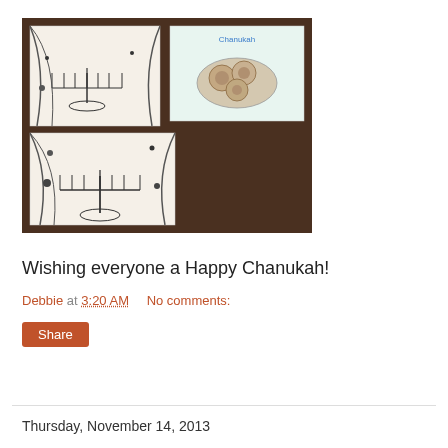[Figure (photo): Three hand-drawn and colored Hanukkah-themed coloring pages laid on a dark brown textured surface. Two pages show a menorah with stars, and one page shows latkes/donuts with 'Chanukah' written in blue at the top.]
Wishing everyone a Happy Chanukah!
Debbie at 3:20 AM    No comments:
Share
Thursday, November 14, 2013